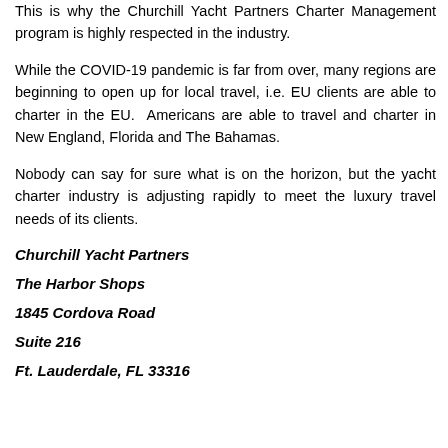This is why the Churchill Yacht Partners Charter Management program is highly respected in the industry.
While the COVID-19 pandemic is far from over, many regions are beginning to open up for local travel, i.e. EU clients are able to charter in the EU. Americans are able to travel and charter in New England, Florida and The Bahamas.
Nobody can say for sure what is on the horizon, but the yacht charter industry is adjusting rapidly to meet the luxury travel needs of its clients.
Churchill Yacht Partners
The Harbor Shops
1845 Cordova Road
Suite 216
Ft. Lauderdale, FL 33316